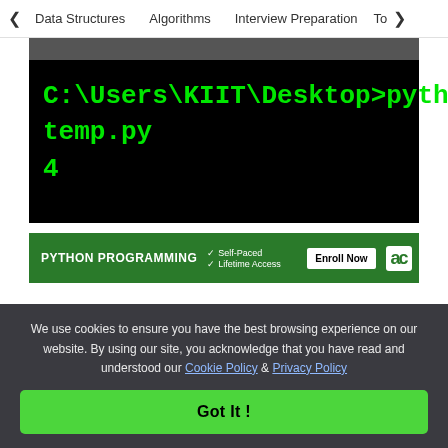< Data Structures   Algorithms   Interview Preparation   To>
[Figure (screenshot): Terminal window showing command prompt output: C:\Users\KIIT\Desktop>python temp.py followed by output line: 4]
[Figure (infographic): Python Programming course promo banner with Self-Paced and Lifetime Access checkmarks, Enroll Now button, and logo]
We use cookies to ensure you have the best browsing experience on our website. By using our site, you acknowledge that you have read and understood our Cookie Policy & Privacy Policy
Got It !